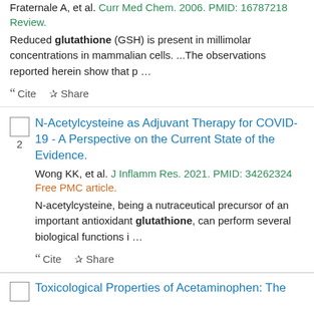Fraternale A, et al. Curr Med Chem. 2006. PMID: 16787218 Review.
Reduced glutathione (GSH) is present in millimolar concentrations in mammalian cells. ...The observations reported herein show that p …
Cite   Share
N-Acetylcysteine as Adjuvant Therapy for COVID-19 - A Perspective on the Current State of the Evidence.
Wong KK, et al. J Inflamm Res. 2021. PMID: 34262324 Free PMC article.
N-acetylcysteine, being a nutraceutical precursor of an important antioxidant glutathione, can perform several biological functions i …
Cite   Share
Toxicological Properties of Acetaminophen: The